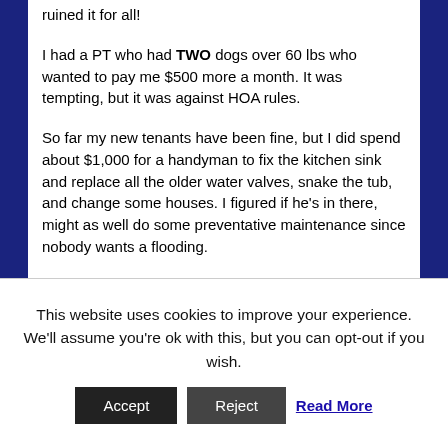ruined it for all!
I had a PT who had TWO dogs over 60 lbs who wanted to pay me $500 more a month. It was tempting, but it was against HOA rules.
So far my new tenants have been fine, but I did spend about $1,000 for a handyman to fix the kitchen sink and replace all the older water valves, snake the tub, and change some houses. I figured if he's in there, might as well do some preventative maintenance since nobody wants a flooding.
My tenants don't know that I love to come over and hang out when there's work to be done! I like
This website uses cookies to improve your experience. We'll assume you're ok with this, but you can opt-out if you wish.